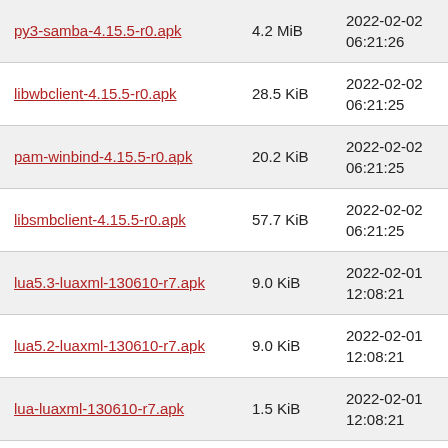| py3-samba-4.15.5-r0.apk | 4.2 MiB | 2022-02-02 06:21:26 |
| libwbclient-4.15.5-r0.apk | 28.5 KiB | 2022-02-02 06:21:25 |
| pam-winbind-4.15.5-r0.apk | 20.2 KiB | 2022-02-02 06:21:25 |
| libsmbclient-4.15.5-r0.apk | 57.7 KiB | 2022-02-02 06:21:25 |
| lua5.3-luaxml-130610-r7.apk | 9.0 KiB | 2022-02-01 12:08:21 |
| lua5.2-luaxml-130610-r7.apk | 9.0 KiB | 2022-02-01 12:08:21 |
| lua-luaxml-130610-r7.apk | 1.5 KiB | 2022-02-01 12:08:21 |
| tiny-cloud-gcp-2.0.0-r0.apk | 2.6 KiB | 2022-01-30 23:22:22 |
| tiny-cloud-network-2.0.0-r0.apk | 5.1 KiB | 2022-01-30 23:22:22 |
| tiny-cloud-oci-2.0.0-r0.apk | 2.6 KiB | 2022-01-30 23:22:22 |
| tiny-cloud-aws-2.0.0-r0.apk | 3.8 KiB | 2022-01-30 23:22:22 |